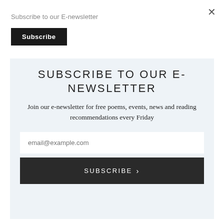Subscribe to our E-newsletter
Subscribe
SUBSCRIBE TO OUR E-NEWSLETTER
Join our e-newsletter for free poems, events, news and reading recommendations every Friday
email@example.com
SUBSCRIBE >